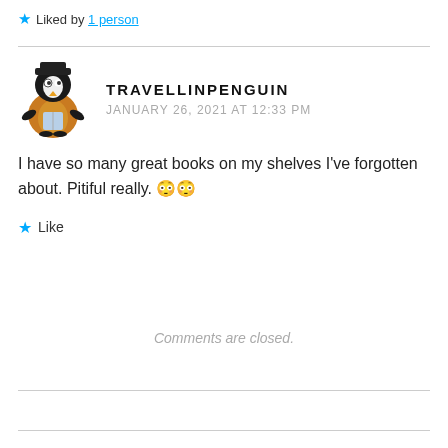★ Liked by 1 person
TRAVELLINPENGUIN
JANUARY 26, 2021 AT 12:33 PM
I have so many great books on my shelves I've forgotten about. Pitiful really. 😳😳
★ Like
Comments are closed.